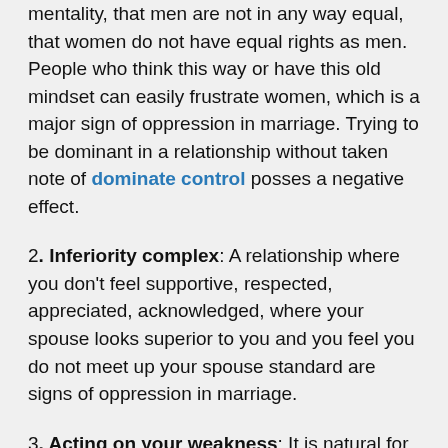mentality, that men are not in any way equal, that women do not have equal rights as men. People who think this way or have this old mindset can easily frustrate women, which is a major sign of oppression in marriage. Trying to be dominant in a relationship without taken note of dominate control posses a negative effect.
2. Inferiority complex: A relationship where you don't feel supportive, respected, appreciated, acknowledged, where your spouse looks superior to you and you feel you do not meet up your spouse standard are signs of oppression in marriage.
3. Acting on your weakness: It is natural for couples to know each other's strengths and weaknesses. Knowing these things isn't to use it against one another but a way to shield relationships, understand each other better and be protective in securing your marriage by standing side to side against